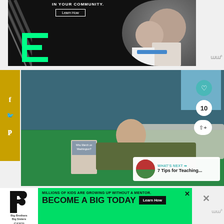[Figure (photo): Dark-themed advertisement banner with geometric green 'E' logo, 'Learn How' button, and photo of a man and boy working on a project together]
[Figure (photo): Boy lying on a green bed reading a book titled 'Who March on Washington?' with a blue wall background; social sharing overlay with heart icon showing 10 likes, and 'What's Next: 7 Tips for Teaching...' panel in bottom corner]
[Figure (photo): Big Brothers Big Sisters advertisement banner with green background showing 'MILLIONS OF KIDS ARE GROWING UP WITHOUT A MENTOR. BECOME A BIG TODAY' with 'Learn How' button]